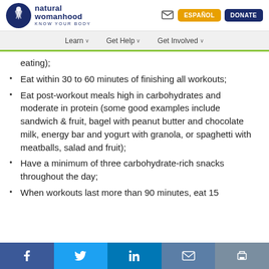natural womanhood KNOW YOUR BODY | ESPAÑOL | DONATE
Learn  Get Help  Get Involved
eating);
Eat within 30 to 60 minutes of finishing all workouts;
Eat post-workout meals high in carbohydrates and moderate in protein (some good examples include sandwich & fruit, bagel with peanut butter and chocolate milk, energy bar and yogurt with granola, or spaghetti with meatballs, salad and fruit);
Have a minimum of three carbohydrate-rich snacks throughout the day;
When workouts last more than 90 minutes, eat 15
f  Twitter  in  Email  Print